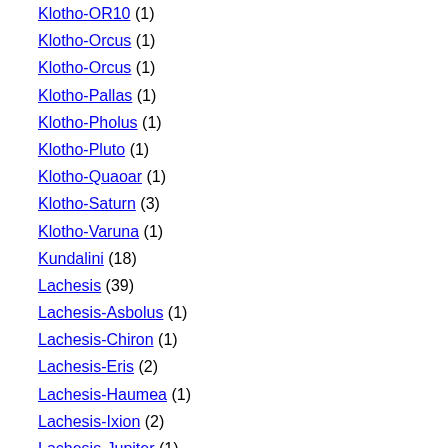Klotho-OR10 (1)
Klotho-Orcus (1)
Klotho-Orcus (1)
Klotho-Pallas (1)
Klotho-Pholus (1)
Klotho-Pluto (1)
Klotho-Quaoar (1)
Klotho-Saturn (3)
Klotho-Varuna (1)
Kundalini (18)
Lachesis (39)
Lachesis-Asbolus (1)
Lachesis-Chiron (1)
Lachesis-Eris (2)
Lachesis-Haumea (1)
Lachesis-Ixion (2)
Lachesis-Jupiter (1)
Lachesis-Makemake (1)
Lachesis-Neptune (2)
Lachesis-Nodes (1)